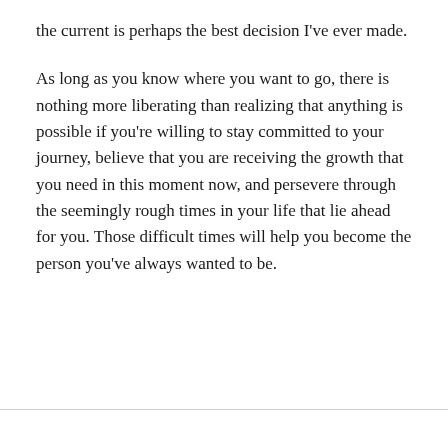the current is perhaps the best decision I've ever made.
As long as you know where you want to go, there is nothing more liberating than realizing that anything is possible if you're willing to stay committed to your journey, believe that you are receiving the growth that you need in this moment now, and persevere through the seemingly rough times in your life that lie ahead for you. Those difficult times will help you become the person you've always wanted to be.